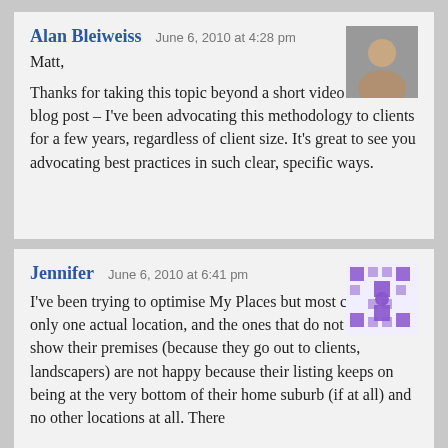Alan Bleiweiss — June 6, 2010 at 4:28 pm
Matt,

Thanks for taking this topic beyond a short video into a full blog post – I've been advocating this methodology to clients for a few years, regardless of client size. It's great to see you advocating best practices in such clear, specific ways.
Jennifer — June 6, 2010 at 6:41 pm
I've been trying to optimise My Places but most clients have only one actual location, and the ones that do not want to show their premises (because they go out to clients, landscapers) are not happy because their listing keeps on being at the very bottom of their home suburb (if at all) and no other locations at all. There